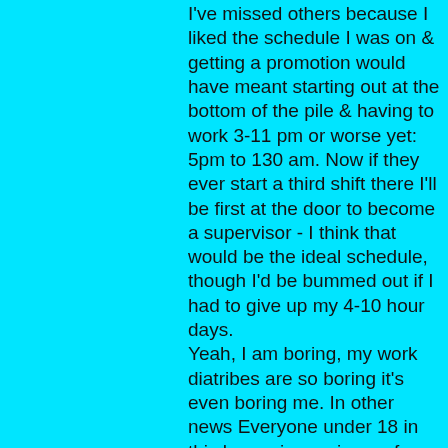I've missed others because I liked the schedule I was on & getting a promotion would have meant starting out at the bottom of the pile & having to work 3-11 pm or worse yet: 5pm to 130 am. Now if they ever start a third shift there I'll be first at the door to become a supervisor - I think that would be the ideal schedule, though I'd be bummed out if I had to give up my 4-10 hour days. Yeah, I am boring, my work diatribes are so boring it's even boring me. In other news Everyone under 18 in this house is gearing up for the end of school which will occour on the first of next month. I do not understand why they don't just end it the Friday before since they've already got that Monday off for memorial day anyway, why go to school for 2 & 1/2 more days? I don't make the rules, I know nothing about them, after all I'm just a 37 year old homeschooled nobody, far be it from me to question the reason the school wants to let them run around their tennis courts & playgrounds for an extra 2 days (they're